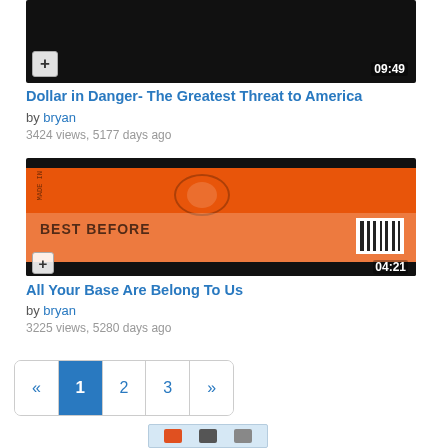[Figure (screenshot): Video thumbnail for 'Dollar in Danger- The Greatest Threat to America', dark/black background, showing 09:49 duration, plus button bottom-left]
Dollar in Danger- The Greatest Threat to America
by bryan
3424 views, 5177 days ago
[Figure (screenshot): Video thumbnail for 'All Your Base Are Belong To Us', orange background with product label/box design, barcode visible, showing 04:21 duration, plus button bottom-left]
All Your Base Are Belong To Us
by bryan
3225 views, 5280 days ago
[Figure (screenshot): Pagination control showing: « 1 2 3 », with 1 highlighted in blue]
[Figure (screenshot): Partial thumbnail of another video at bottom of page, partially visible]